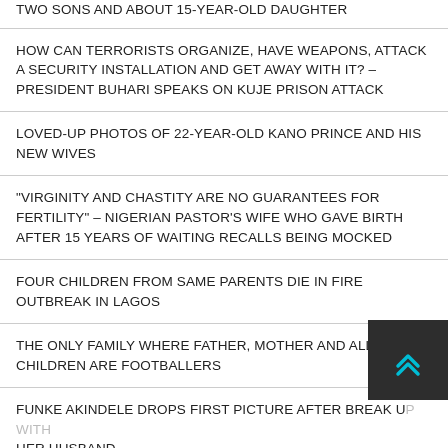TWO SONS AND ABOUT 15-YEAR-OLD DAUGHTER
HOW CAN TERRORISTS ORGANIZE, HAVE WEAPONS, ATTACK A SECURITY INSTALLATION AND GET AWAY WITH IT? – PRESIDENT BUHARI SPEAKS ON KUJE PRISON ATTACK
LOVED-UP PHOTOS OF 22-YEAR-OLD KANO PRINCE AND HIS NEW WIVES
"VIRGINITY AND CHASTITY ARE NO GUARANTEES FOR FERTILITY" – NIGERIAN PASTOR'S WIFE WHO GAVE BIRTH AFTER 15 YEARS OF WAITING RECALLS BEING MOCKED
FOUR CHILDREN FROM SAME PARENTS DIE IN FIRE OUTBREAK IN LAGOS
THE ONLY FAMILY WHERE FATHER, MOTHER AND ALL CHILDREN ARE FOOTBALLERS
FUNKE AKINDELE DROPS FIRST PICTURE AFTER BREAK UP WITH HER HUSBAND